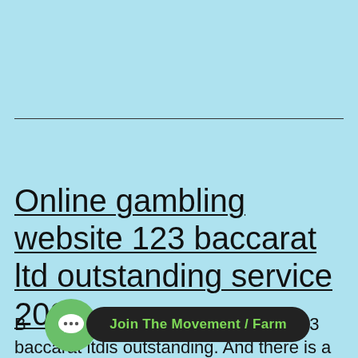Online gambling website 123 baccarat ltd outstanding service 2022
Baccarat website game,123 baccarat ltdis outstanding. And there is a very
[Figure (other): Green circular chat bubble icon with ellipsis, overlaid by a dark pill-shaped button reading 'Join The Movement / Farm' in green text]